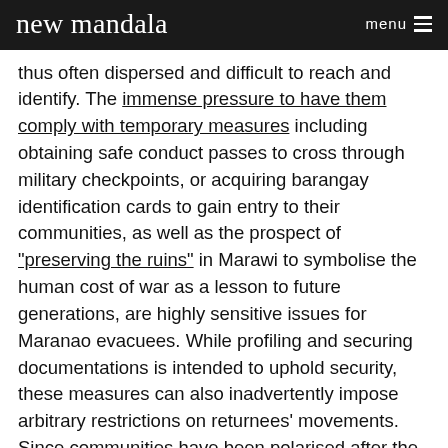new mandala   menu
thus often dispersed and difficult to reach and identify. The immense pressure to have them comply with temporary measures including obtaining safe conduct passes to cross through military checkpoints, or acquiring barangay identification cards to gain entry to their communities, as well as the prospect of "preserving the ruins" in Marawi to symbolise the human cost of war as a lesson to future generations, are highly sensitive issues for Maranao evacuees. While profiling and securing documentations is intended to uphold security, these measures can also inadvertently impose arbitrary restrictions on returnees' movements. Since communities have been polarised after the siege, the issuance of